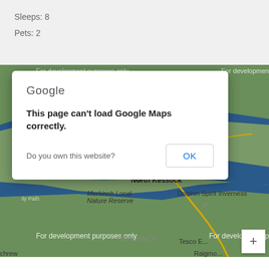Sleeps: 8
Pets: 2
[Figure (screenshot): Google Maps error dialog overlaid on a map of North Kessock area near Inverness, Scotland. Dialog reads 'Google / This page can't load Google Maps correctly. / Do you own this website? [OK]'. Map shows watermark 'For development purposes only', location pin on North Kessock, labels for Croftnacreich, Merkinch Local Nature Reserve, Dolphin Spirit Inverness, MERKINCH, Tesco Extra, Raigmore. Plus zoom button in bottom right.]